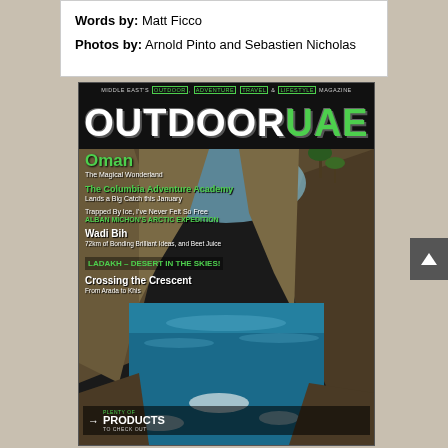Words by: Matt Ficco
Photos by: Arnold Pinto and Sebastien Nicholas
[Figure (photo): Cover of Outdoor UAE magazine featuring a scenic wadi with turquoise water, rocky cliffs, and palm trees. Text on cover includes: MIDDLE EAST'S OUTDOOR, ADVENTURE TRAVEL & LIFESTYLE MAGAZINE; OUTDOORUAE; Oman - The Magical Wonderland; The Columbia Adventure Academy Lands a Big Catch this January; Trapped By Ice, I've Never Felt So Free / ALBAN MICHON'S ARCTIC EXPEDITION; Wadi Bih 72km of Bonding Brilliant Ideas, and Beet Juice; LADAKH – DESERT IN THE SKIES!; Crossing the Crescent From Arada to Khis; PRODUCTS TO CHECK OUT]